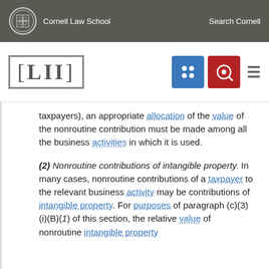Cornell Law School | Search Cornell
[Figure (logo): LII Legal Information Institute logo with navigation icons]
taxpayers), an appropriate allocation of the value of the nonroutine contribution must be made among all the business activities in which it is used.
(2) Nonroutine contributions of intangible property. In many cases, nonroutine contributions of a taxpayer to the relevant business activity may be contributions of intangible property. For purposes of paragraph (c)(3)(i)(B)(1) of this section, the relative value of nonroutine intangible property